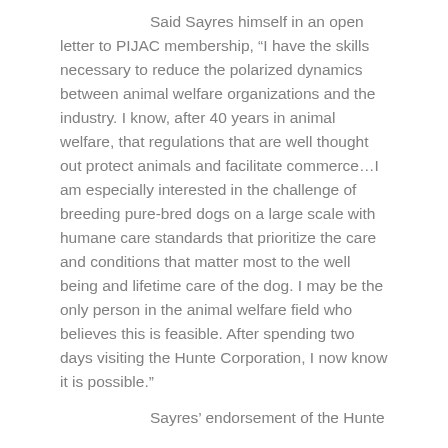Said Sayres himself in an open letter to PIJAC membership, “I have the skills necessary to reduce the polarized dynamics between animal welfare organizations and the industry. I know, after 40 years in animal welfare, that regulations that are well thought out protect animals and facilitate commerce…I am especially interested in the challenge of breeding pure-bred dogs on a large scale with humane care standards that prioritize the care and conditions that matter most to the well being and lifetime care of the dog. I may be the only person in the animal welfare field who believes this is feasible. After spending two days visiting the Hunte Corporation, I now know it is possible.”
Sayres’ endorsement of the Hunte